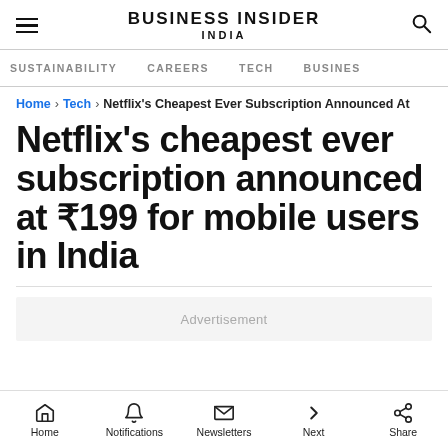BUSINESS INSIDER INDIA
SUSTAINABILITY   CAREERS   TECH   BUSINESS
Home › Tech › Netflix's Cheapest Ever Subscription Announced At
Netflix's cheapest ever subscription announced at ₹199 for mobile users in India
Advertisement
Home   Notifications   Newsletters   Next   Share